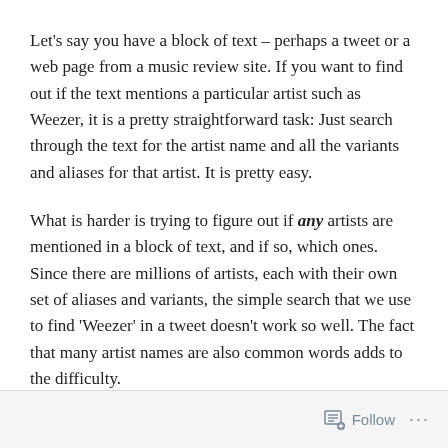Let's say you have a block of text – perhaps a tweet or a web page from a music review site.  If you want to find out if the text mentions a particular artist such as Weezer, it is a pretty straightforward task:  Just search through the text for the artist name and all the variants and aliases for that artist.  It is pretty easy.
What is harder is trying to figure out if any artists are mentioned in a block of text, and if so, which ones.  Since there are millions of artists, each with their own set of aliases and variants, the simple search that we use to find 'Weezer' in a tweet doesn't work so well.  The fact that many artist names are also common words adds to the difficulty.
Follow ···